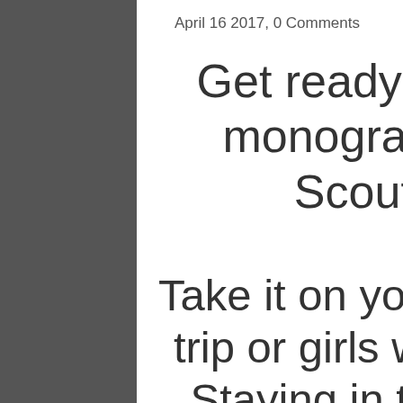April 16 2017, 0 Comments
Get ready for summer and monogram your favorite Scout bag today!
Take it on your upcoming beach trip or girls weekend get away. Staying in town? No worries, these bags make the perfect little pool bag, picnic bag or gym bag! While everyone deserves to